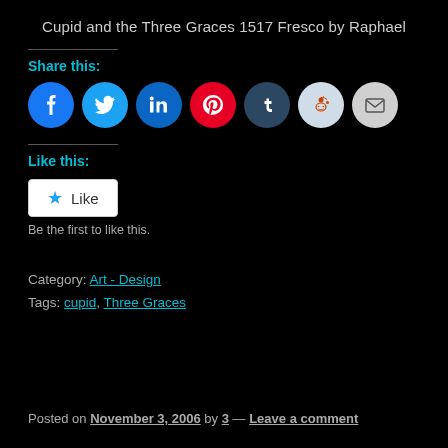Cupid and the Three Graces 1517 Fresco by Raphael
Share this:
[Figure (infographic): Row of social media sharing icons: Facebook (blue), Twitter (light blue), LinkedIn (dark blue), Pinterest (red), Tumblr (dark navy), Reddit (light blue/gray), Email (gray)]
Like this:
[Figure (infographic): WordPress Like button widget showing a star icon and the word Like in a white rounded rectangle button]
Be the first to like this.
Category: Art - Design
Tags: cupid, Three Graces
Posted on November 3, 2006 by 3 — Leave a comment